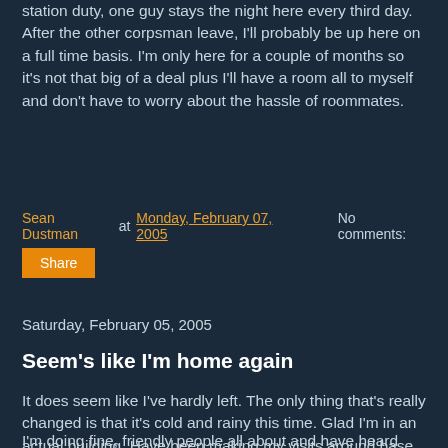station duty, one guy stays the night here every third day. After the other corpsman leave, I'll probably be up here on a full time basis. I'm only here for a couple of months so it's not that big of a deal plus I'll have a room all to myself and don't have to worry about the hassle of roommates.
Sean Dustman at Monday, February 07, 2005    No comments:
Share
Saturday, February 05, 2005
Seem's like I'm home again
It does seem like I've hardly left. The only thing that's really changed is that it's cold and rainy this time. Glad I'm in an actual building. Have been making my visits around base letting everyone know that I've made it on one piece. Met the new PAO, first thing out of his mouth? "So you're that Dustman, what hell are you doing back this soon?" I've spent more time here then back in the states.
I'm doing fine, friendly people all about and have heard